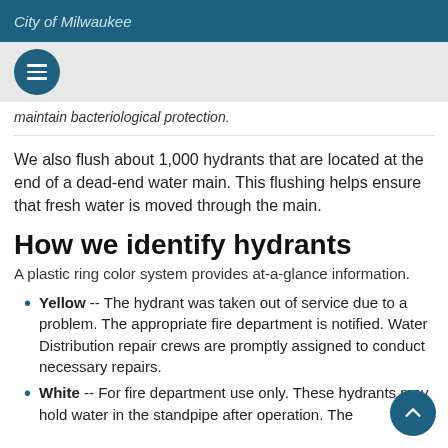City of Milwaukee
maintain bacteriological protection.
We also flush about 1,000 hydrants that are located at the end of a dead-end water main. This flushing helps ensure that fresh water is moved through the main.
How we identify hydrants
A plastic ring color system provides at-a-glance information.
Yellow -- The hydrant was taken out of service due to a problem. The appropriate fire department is notified. Water Distribution repair crews are promptly assigned to conduct necessary repairs.
White -- For fire department use only. These hydrants may hold water in the standpipe after operation. The